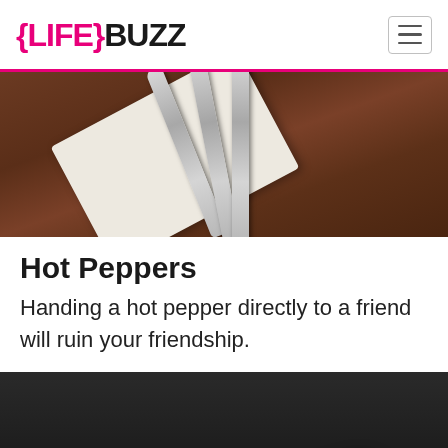{LIFE}BUZZ
[Figure (photo): Photo of silverware (forks/knives) arranged on a white napkin on a dark wood table]
Hot Peppers
Handing a hot pepper directly to a friend will ruin your friendship.
[Figure (photo): Photo of red hot pepper(s) on a dark background]